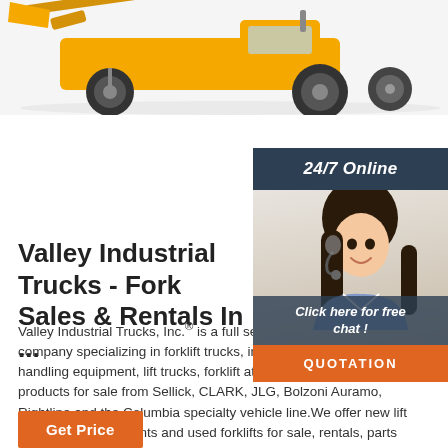[Figure (photo): Yellow industrial forklift/dump truck vehicle at top of page]
[Figure (photo): 24/7 Online chat widget with woman wearing headset, dark blue header, orange QUOTATION button]
Valley Industrial Trucks - Fork Sales & Rentals In ...
Valley Industrial Trucks, Inc.® is a full service material handling company specializing in forklift trucks, industrial vehicles, material handling equipment, lift trucks, forklift attachments and storage products for sale from Sellick, CLARK, JLG, Bolzoni Auramo, Rightline and the Columbia specialty vehicle line.We offer new lift trucks and attachments and used forklifts for sale, rentals, parts
...
[Figure (other): Orange 'Get Price' button at bottom left]